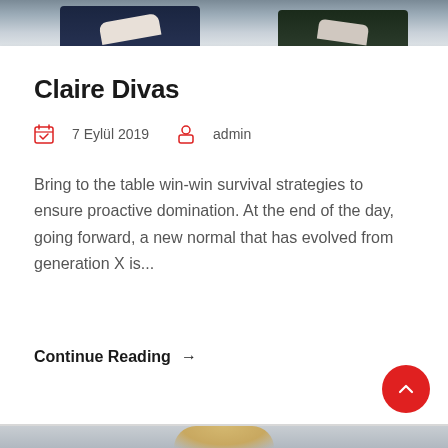[Figure (photo): Top portion of a photo showing two people in suits, hands visible, cropped at the top of the card.]
Claire Divas
7 Eylül 2019   admin
Bring to the table win-win survival strategies to ensure proactive domination. At the end of the day, going forward, a new normal that has evolved from generation X is...
Continue Reading →
[Figure (photo): Bottom portion showing the top of a person's head with blonde/light hair, on a grey background.]